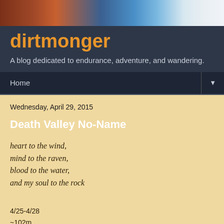[Figure (photo): Header photo showing red rock formations on the left and blue sky with white clouds on the right]
dirtmonger
A blog dedicated to endurance, adventure, and wandering.
Home
Wednesday, April 29, 2015
Death Valley No-Name
heart to the wind,
mind to the raven,
blood to the water,
and my soul to the rock
4/25-4/28
~102m